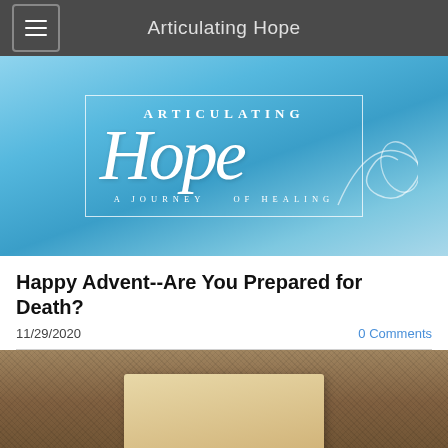Articulating Hope
[Figure (logo): Articulating Hope — A Journey of Healing logo on blue gradient background]
Happy Advent--Are You Prepared for Death?
11/29/2020
0 Comments
[Figure (photo): Close-up photo of carpet with a beige card partially visible showing the word DEATH]